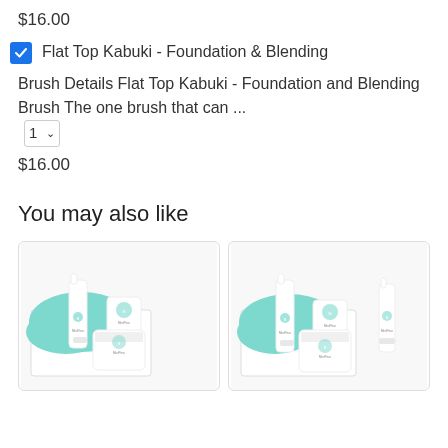$16.00
Flat Top Kabuki - Foundation & Blending Brush Details Flat Top Kabuki - Foundation and Blending Brush The one brush that can ... 1
$16.00
You may also like
[Figure (photo): Two product photos side by side showing MiniPear skincare sets in white boxes with teal packaging material and white bottles/jars]
[Figure (photo): Second MiniPear skincare set product photo with white bottles and teal packaging]